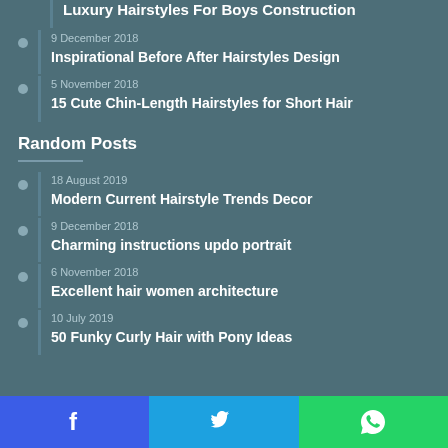Luxury Hairstyles For Boys Construction
9 December 2018 — Inspirational Before After Hairstyles Design
5 November 2018 — 15 Cute Chin-Length Hairstyles for Short Hair
Random Posts
18 August 2019 — Modern Current Hairstyle Trends Decor
9 December 2018 — Charming instructions updo portrait
6 November 2018 — Excellent hair women architecture
10 July 2019 — 50 Funky Curly Hair with Pony Ideas
Facebook | Twitter | WhatsApp